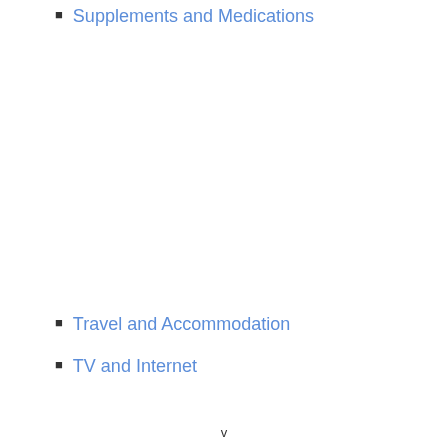Supplements and Medications
Travel and Accommodation
TV and Internet
v